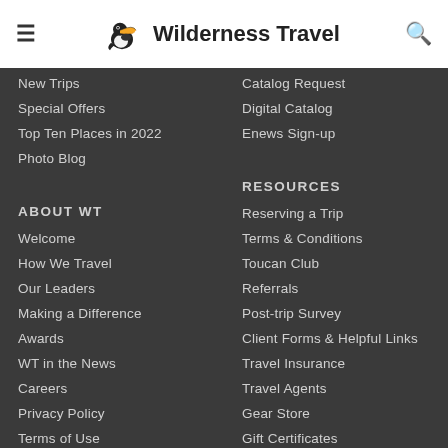Wilderness Travel
New Trips
Special Offers
Top Ten Places in 2022
Photo Blog
Catalog Request
Digital Catalog
Enews Sign-up
ABOUT WT
Welcome
How We Travel
Our Leaders
Making a Difference
Awards
WT in the News
Careers
Privacy Policy
Terms of Use
RESOURCES
Reserving a Trip
Terms & Conditions
Toucan Club
Referrals
Post-trip Survey
Client Forms & Helpful Links
Travel Insurance
Travel Agents
Gear Store
Gift Certificates
Site Map